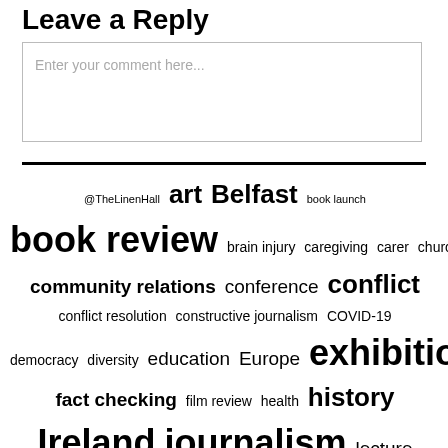Leave a Reply
Enter your comment here...
@TheLinenHall art Belfast book launch book review brain injury caregiving carer church community relations conference conflict conflict resolution constructive journalism COVID-19 democracy diversity education Europe exhibition fact checking film review health history Ireland journalism lecture Northern Ireland Palestine peace